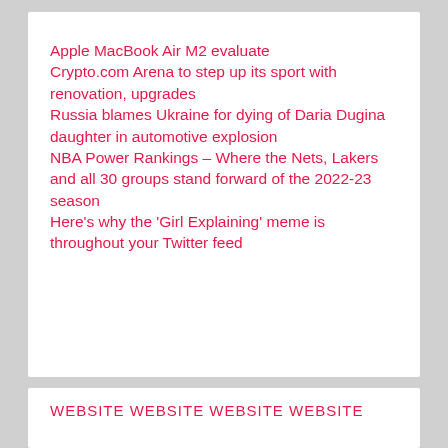Apple MacBook Air M2 evaluate
Crypto.com Arena to step up its sport with renovation, upgrades
Russia blames Ukraine for dying of Daria Dugina daughter in automotive explosion
NBA Power Rankings – Where the Nets, Lakers and all 30 groups stand forward of the 2022-23 season
Here's why the 'Girl Explaining' meme is throughout your Twitter feed
WEBSITE WEBSITE WEBSITE WEBSITE